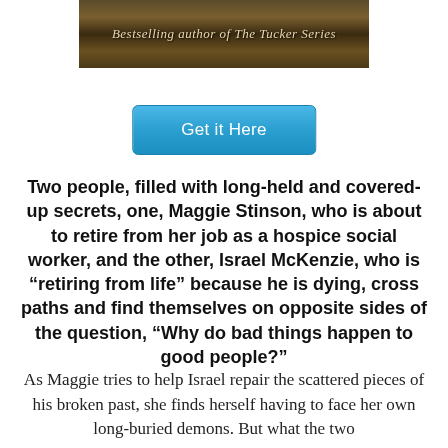[Figure (photo): Book cover image showing text 'Bestselling author of The Tucker Series' on a dark earthy/nature background]
[Figure (other): Blue button labeled 'Get it Here']
Two people, filled with long-held and covered-up secrets, one, Maggie Stinson, who is about to retire from her job as a hospice social worker, and the other, Israel McKenzie, who is “retiring from life” because he is dying, cross paths and find themselves on opposite sides of the question, “Why do bad things happen to good people?”
As Maggie tries to help Israel repair the scattered pieces of his broken past, she finds herself having to face her own long-buried demons. But what the two